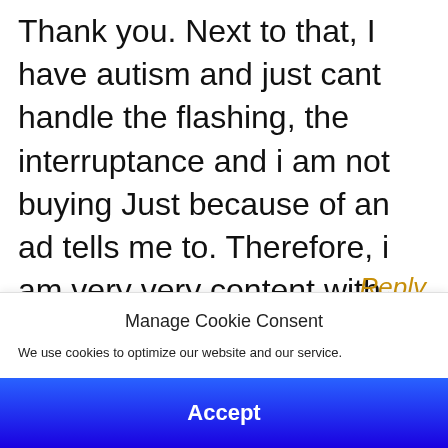Thank you. Next to that, I have autism and just cant handle the flashing, the interruptance and i am not buying Just because of an ad tells me to. Therefore, i am very very content with AdBlocker as it is.
Reply
Manage Cookie Consent
We use cookies to optimize our website and our service.
Accept